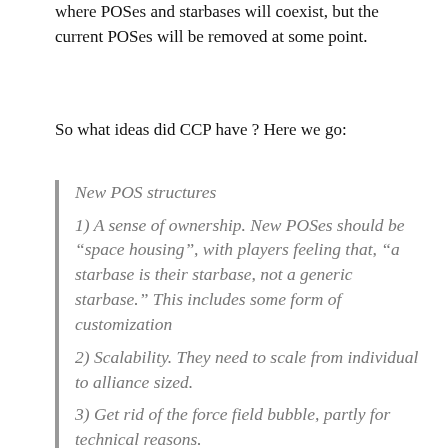where POSes and starbases will coexist, but the current POSes will be removed at some point.
So what ideas did CCP have ? Here we go:
New POS structures
1) A sense of ownership. New POSes should be "space housing", with players feeling that, "a starbase is their starbase, not a generic starbase." This includes some form of customization
2) Scalability. They need to scale from individual to alliance sized.
3) Get rid of the force field bubble, partly for technical reasons.
4) A single structure. This doesn't preclude